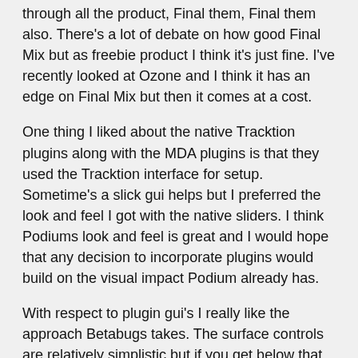through all the product, Final them, Final them also. There's a lot of debate on how good Final Mix but as freebie product I think it's just fine. I've recently looked at Ozone and I think it has an edge on Final Mix but then it comes at a cost.
One thing I liked about the native Tracktion plugins along with the MDA plugins is that they used the Tracktion interface for setup. Sometime's a slick gui helps but I preferred the look and feel I got with the native sliders. I think Podiums look and feel is great and I would hope that any decision to incorporate plugins would build on the visual impact Podium already has.
With respect to plugin gui's I really like the approach Betabugs takes. The surface controls are relatively simplistic but if you get below that, there is lot more that can be done. The challange is o achive the right balance, make it easy enough for a beginner to use but you still have the guts available for those who want/need to tinker.